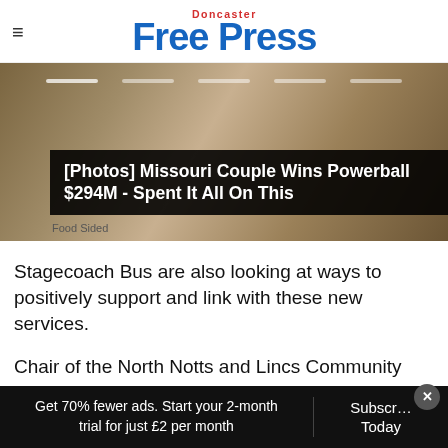Doncaster Free Press
[Figure (photo): Advertisement banner with blurred background image showing text overlay: '[Photos] Missouri Couple Wins Powerball $294M - Spent It All On This' with source caption 'Food Sided']
Stagecoach Bus are also looking at ways to positively support and link with these new services.
Chair of the North Notts and Lincs Community Rail Partnership, Barry Coward, said: “Over the past campaigns have tried and failed to restor
Get 70% fewer ads. Start your 2-month trial for just £2 per month
Subscribe Today